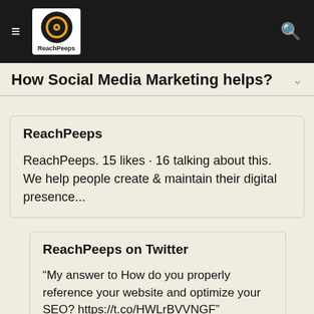ReachPeeps — navigation header with hamburger menu and search icon
How Social Media Marketing helps?
ReachPeeps
ReachPeeps. 15 likes · 16 talking about this. We help people create & maintain their digital presence...
ReachPeeps on Twitter
“My answer to How do you properly reference your website and optimize your SEO? https://t.co/HWLrBVVNGF”